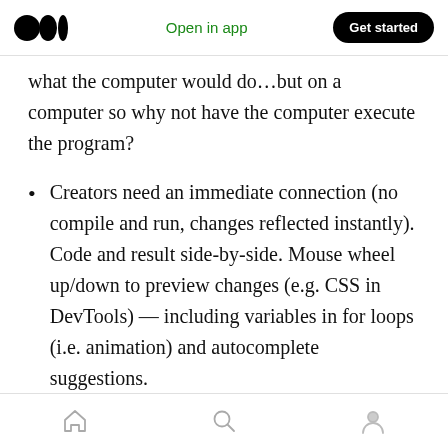Open in app | Get started
what the computer would do…but on a computer so why not have the computer execute the program?
Creators need an immediate connection (no compile and run, changes reflected instantly). Code and result side-by-side. Mouse wheel up/down to preview changes (e.g. CSS in DevTools) — including variables in for loops (i.e. animation) and autocomplete suggestions.
Allows ideas to develop that would be
Home | Search | Profile